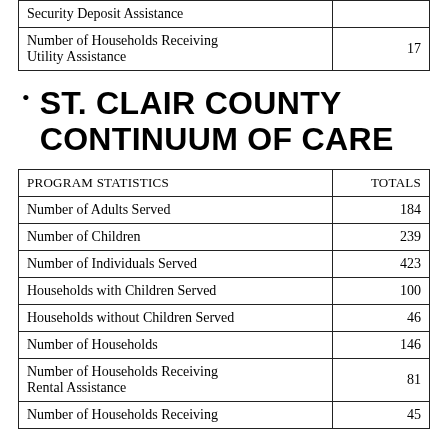|  |  |
| --- | --- |
| Security Deposit Assistance |  |
| Number of Households Receiving Utility Assistance | 17 |
ST. CLAIR COUNTY CONTINUUM OF CARE
| PROGRAM STATISTICS | TOTALS |
| --- | --- |
| Number of Adults Served | 184 |
| Number of Children | 239 |
| Number of Individuals Served | 423 |
| Households with Children Served | 100 |
| Households without Children Served | 46 |
| Number of Households | 146 |
| Number of Households Receiving Rental Assistance | 81 |
| Number of Households Receiving | 45 |